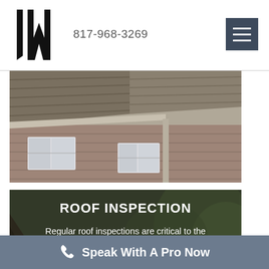817-968-3269
[Figure (photo): Close-up photograph of damaged residential roof with shingles and gutters visible on a taupe/brown house]
[Figure (photo): Service card with blurred outdoor green background showing ROOF INSPECTION heading and descriptive text]
ROOF INSPECTION
Regular roof inspections are critical to the structural integrity of your roof and the safety of your family.
Speak With A Pro Now